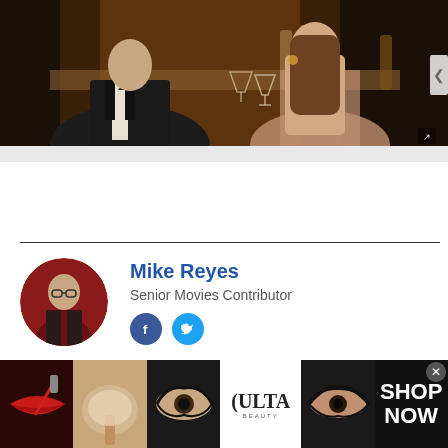[Figure (photo): Man in tuxedo and woman in backless dress at a bar with martini glasses and bottles in background]
Mike Reyes
Senior Movies Contributor
[Figure (infographic): ULTA Beauty advertisement banner with makeup imagery including lips, makeup brush, eye makeup, and ULTA logo, with SHOP NOW call to action]